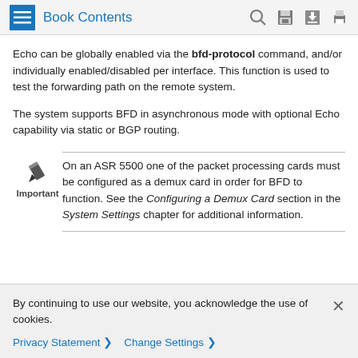Book Contents
Echo can be globally enabled via the bfd-protocol command, and/or individually enabled/disabled per interface. This function is used to test the forwarding path on the remote system.
The system supports BFD in asynchronous mode with optional Echo capability via static or BGP routing.
Important
On an ASR 5500 one of the packet processing cards must be configured as a demux card in order for BFD to function. See the Configuring a Demux Card section in the System Settings chapter for additional information.
By continuing to use our website, you acknowledge the use of cookies.
Privacy Statement > Change Settings >